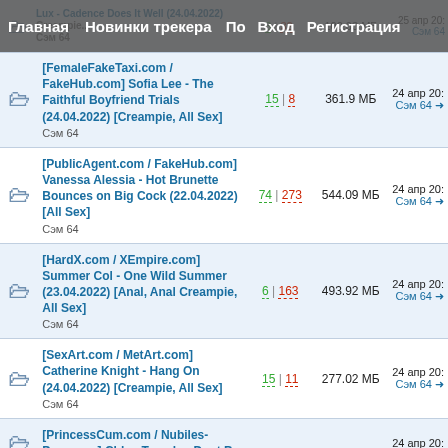Главная  Новинки трекера  По  Вход  Регистрация
|  | Title | Seeds|Leeches | Size | Date/Author |
| --- | --- | --- | --- | --- |
|  | [FemaleFakeTaxi.com / FakeHub.com] Sofia Lee - The Faithful Boyfriend Trials (24.04.2022) [Creampie, All Sex] Сэм 64 | 15 | 8 | 361.9 МБ | 24 апр 20: Сэм 64 |
|  | [PublicAgent.com / FakeHub.com] Vanessa Alessia - Hot Brunette Bounces on Big Cock (22.04.2022) [All Sex] Сэм 64 | 74 | 273 | 544.09 МБ | 24 апр 20: Сэм 64 |
|  | [HardX.com / XEmpire.com] Summer Col - One Wild Summer (23.04.2022) [Anal, Anal Creampie, All Sex] Сэм 64 | 6 | 163 | 493.92 МБ | 24 апр 20: Сэм 64 |
|  | [SexArt.com / MetArt.com] Catherine Knight - Hang On (24.04.2022) [Creampie, All Sex] Сэм 64 | 15 | 11 | 277.02 МБ | 24 апр 20: Сэм 64 |
|  | [PrincessCum.com / Nubiles-Porn.com] Chloe Temple - Dont Bo... |  |  | 24 апр 20: |